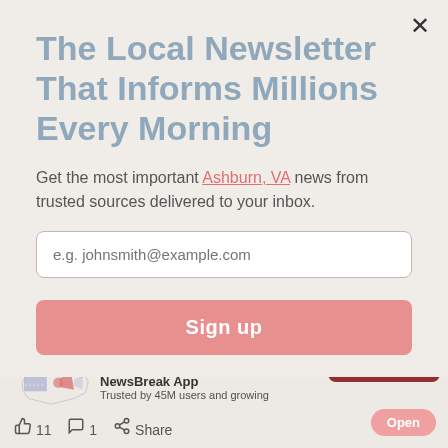The Local Newsletter That Informs Millions Every Morning
Get the most important Ashburn, VA news from trusted sources delivered to your inbox.
e.g. johnsmith@example.com
Sign up
crash
WOOD COUNTY, TX · 4 DAYS AGO
NewsBreak App
Trusted by 45M users and growing
11
1
Share
Open